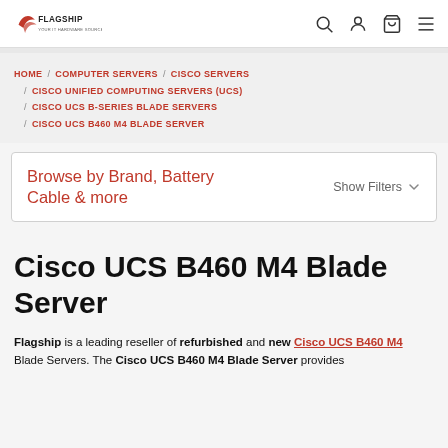Flagship logo with navigation icons (search, user, cart, menu)
HOME / COMPUTER SERVERS / CISCO SERVERS / CISCO UNIFIED COMPUTING SERVERS (UCS) / CISCO UCS B-SERIES BLADE SERVERS / CISCO UCS B460 M4 BLADE SERVER
Browse by Brand, Battery Cable & more   Show Filters
Cisco UCS B460 M4 Blade Server
Flagship is a leading reseller of refurbished and new Cisco UCS B460 M4 Blade Servers. The Cisco UCS B460 M4 Blade Server provides